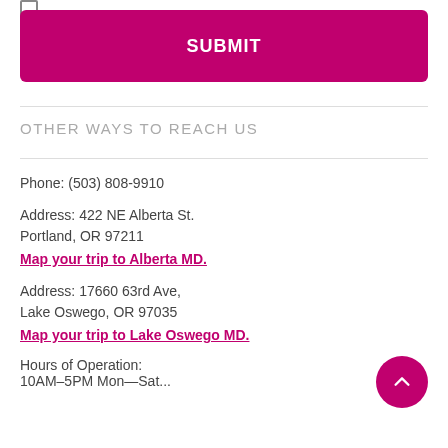[Figure (other): Magenta submit button with white bold text SUBMIT]
OTHER WAYS TO REACH US
Phone: (503) 808-9910
Address: 422 NE Alberta St.
Portland, OR 97211
Map your trip to Alberta MD.
Address: 17660 63rd Ave,
Lake Oswego, OR 97035
Map your trip to Lake Oswego MD.
Hours of Operation:
10AM–5PM Mon—Sat...